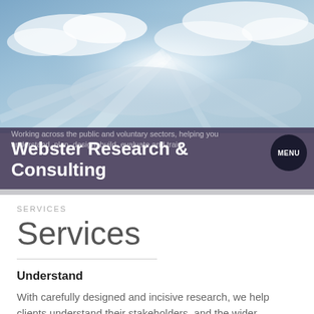[Figure (photo): Sky photo with sunbeams breaking through clouds, blue and white tones]
Webster Research & Consulting
Working across the public and voluntary sectors, helping you understand, plan, design, build, evaluate and train.
SERVICES
Services
Understand
With carefully designed and incisive research, we help clients understand their stakeholders, and the wider environment.